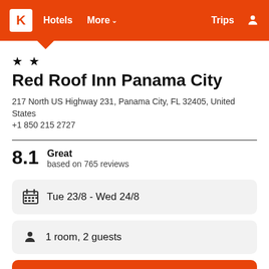K Hotels More ∨ Trips
★ ★
Red Roof Inn Panama City
217 North US Highway 231, Panama City, FL 32405, United States
+1 850 215 2727
8.1 Great based on 765 reviews
Tue 23/8  -  Wed 24/8
1 room, 2 guests
Search